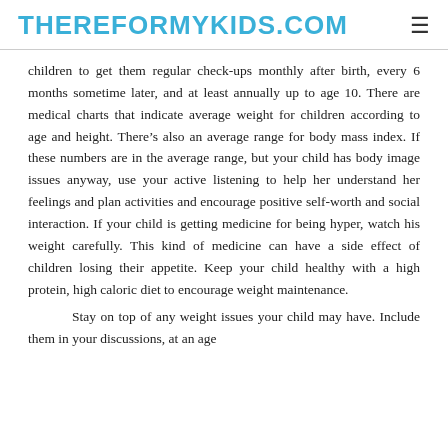THEREFORMYKIDS.COM
children to get them regular check-ups monthly after birth, every 6 months sometime later, and at least annually up to age 10. There are medical charts that indicate average weight for children according to age and height. There’s also an average range for body mass index. If these numbers are in the average range, but your child has body image issues anyway, use your active listening to help her understand her feelings and plan activities and encourage positive self-worth and social interaction. If your child is getting medicine for being hyper, watch his weight carefully. This kind of medicine can have a side effect of children losing their appetite. Keep your child healthy with a high protein, high caloric diet to encourage weight maintenance.
Stay on top of any weight issues your child may have. Include them in your discussions, at an age